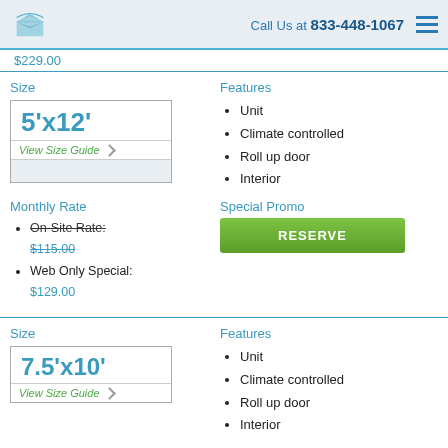Call Us at 833-448-1067
$229.00
Size
5'x12'
View Size Guide
Features
Unit
Climate controlled
Roll up door
Interior
Monthly Rate
On-Site Rate: $115.00
Web Only Special: $129.00
Special Promo
RESERVE
Size
7.5'x10'
View Size Guide
Features
Unit
Climate controlled
Roll up door
Interior